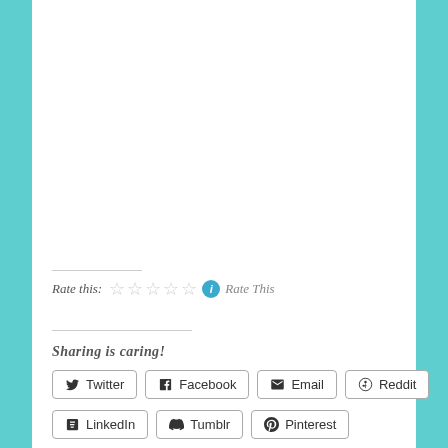Rate this: ☆☆☆☆☆ ⓘ Rate This
Sharing is caring!
Twitter  Facebook  Email  Reddit  LinkedIn  Tumblr  Pinterest
★ Like
Be the first to like this.